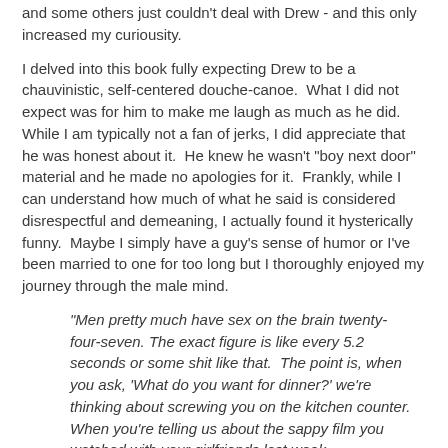and some others just couldn't deal with Drew - and this only increased my curiousity.
I delved into this book fully expecting Drew to be a chauvinistic, self-centered douche-canoe.  What I did not expect was for him to make me laugh as much as he did.  While I am typically not a fan of jerks, I did appreciate that he was honest about it.  He knew he wasn't "boy next door" material and he made no apologies for it.  Frankly, while I can understand how much of what he said is considered disrespectful and demeaning, I actually found it hysterically funny.  Maybe I simply have a guy's sense of humor or I've been married to one for too long but I thoroughly enjoyed my journey through the male mind.
"Men pretty much have sex on the brain twenty-four-seven. The exact figure is like every 5.2 seconds or some shit like that.  The point is, when you ask, 'What do you want for dinner?' we're thinking about screwing you on the kitchen counter. When you're telling us about the sappy film you watched with your girlfriends last week,